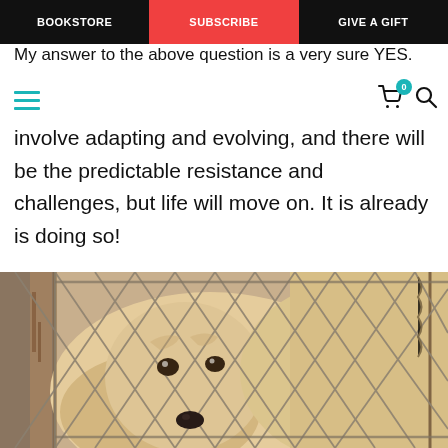BOOKSTORE | SUBSCRIBE | GIVE A GIFT
My answer to the above question is a very sure YES.
involve adapting and evolving, and there will be the predictable resistance and challenges, but life will move on. It is already is doing so!
[Figure (photo): A golden retriever puppy looking through a chain-link fence, close-up shot showing the puppy's face with sad eyes peering through the metal diamond-pattern fencing with rusty metal poles.]